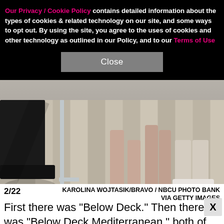[Figure (photo): Feet and legs of people standing on a wooden yacht deck, viewed from below knees. Some wearing shoes, some barefoot. Wooden plank deck visible.]
Our Privacy / Cookie Policy contains detailed information about the types of cookies & related technology on our site, and some ways to opt out. By using the site, you agree to the uses of cookies and other technology as outlined in our Policy, and to our Terms of Use
Close
2/22    KAROLINA WOJTASIK/BRAVO / NBCU PHOTO BANK VIA GETTY IMAGES
First there was "Below Deck." Then there was "Below Deck Mediterranean," both of which were big successes for Bravo. The latest show in the franchise? "Below Deck Sailing Yacht." The first season, which premiere